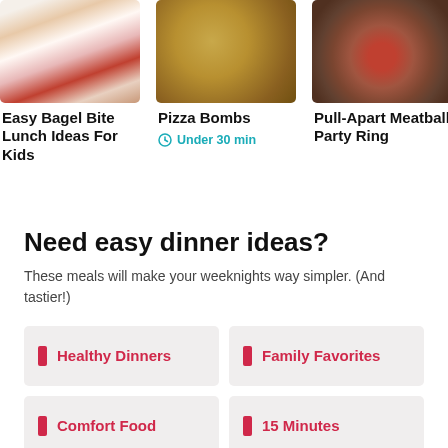[Figure (photo): Food photo grid showing bagel bites, pizza bombs, meatball party ring, and partial fourth image]
Easy Bagel Bite Lunch Ideas For Kids
Pizza Bombs
Under 30 min
Pull-Apart Meatball Party Ring
Need easy dinner ideas?
These meals will make your weeknights way simpler. (And tastier!)
Healthy Dinners
Family Favorites
Comfort Food
15 Minutes